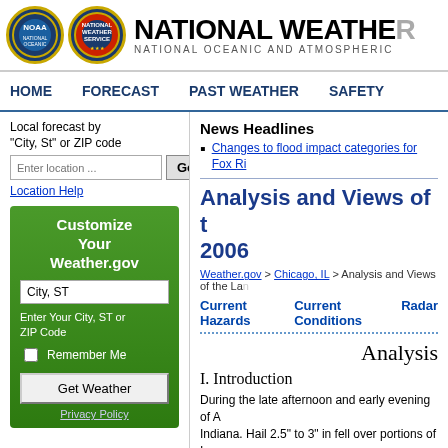NATIONAL WEATHER SERVICE — NATIONAL OCEANIC AND ATMOSPHERIC
HOME  FORECAST  PAST WEATHER  SAFETY
Local forecast by "City, St" or ZIP code
Enter location ...
Location Help
Customize Your Weather.gov
City, ST
Enter Your City, ST or ZIP Code
Remember Me
Get Weather
Privacy Policy
News Headlines
Changes to flood impact categories for Fox Ri
Analysis and Views of t 2006
Weather.gov > Chicago, IL > Analysis and Views of the La
Current Hazards    Current Conditions    Radar
Analysis
I. Introduction
During the late afternoon and early evening of A Indiana. Hail 2.5" to 3" in fell over portions of Ir